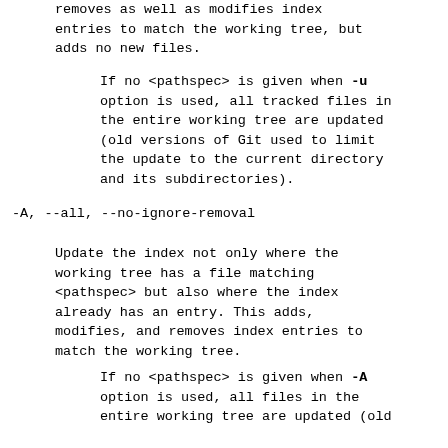removes as well as modifies index entries to match the working tree, but adds no new files.
If no <pathspec> is given when -u option is used, all tracked files in the entire working tree are updated (old versions of Git used to limit the update to the current directory and its subdirectories).
-A, --all, --no-ignore-removal
Update the index not only where the working tree has a file matching <pathspec> but also where the index already has an entry. This adds, modifies, and removes index entries to match the working tree.
If no <pathspec> is given when -A option is used, all files in the entire working tree are updated (old